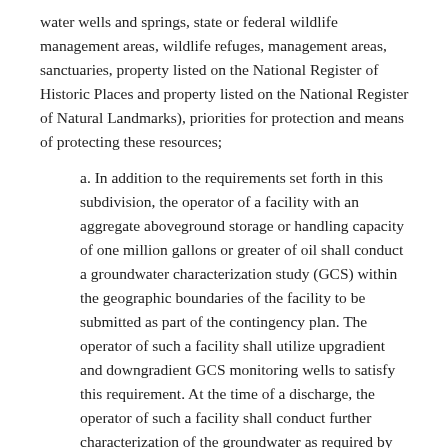water wells and springs, state or federal wildlife management areas, wildlife refuges, management areas, sanctuaries, property listed on the National Register of Historic Places and property listed on the National Register of Natural Landmarks), priorities for protection and means of protecting these resources;
a. In addition to the requirements set forth in this subdivision, the operator of a facility with an aggregate aboveground storage or handling capacity of one million gallons or greater of oil shall conduct a groundwater characterization study (GCS) within the geographic boundaries of the facility to be submitted as part of the contingency plan. The operator of such a facility shall utilize upgradient and downgradient GCS monitoring wells to satisfy this requirement. At the time of a discharge, the operator of such a facility shall conduct further characterization of the groundwater as required by the board;